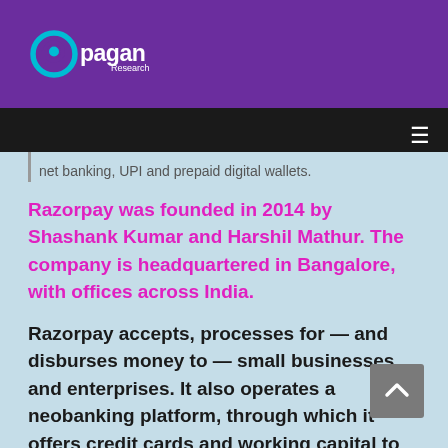[Figure (logo): Pagan Research logo — circular 'p' icon in purple and cyan colors, with 'pagan' in large white text and 'Research' in smaller white text]
Navigation bar with hamburger menu icon
net banking, UPI and prepaid digital wallets.
Razorpay was founded in 2014 by Shashank Kumar and Harshil Mathur. The company is headquartered in Bangalore, with offices across India.
Razorpay accepts, processes for — and disburses money to — small businesses and enterprises. It also operates a neobanking platform, through which it offers credit cards and working capital to businesses. It also offers an international payments gateway that supports over 90 currencies.